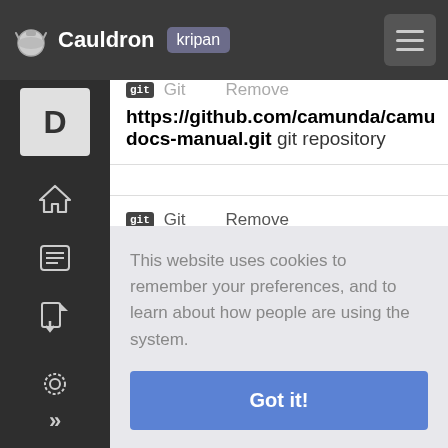Cauldron kripan
Git  Remove
https://github.com/camunda/camudocs-manual.git git repository
Git  Remove
https://github.com/camunda/camu
This website uses cookies to remember your preferences, and to learn about how people are using the system.
Got it!